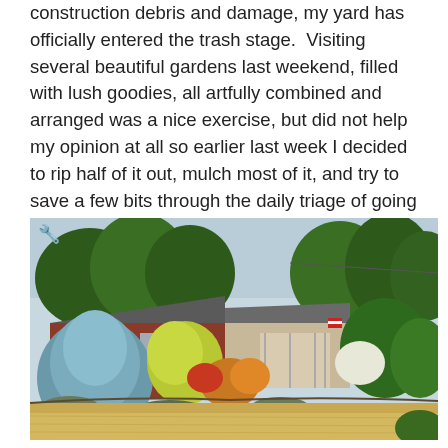construction debris and damage, my yard has officially entered the trash stage.  Visiting several beautiful gardens last weekend, filled with lush goodies, all artfully combined and arranged was a nice exercise, but did not help my opinion at all so earlier last week I decided to rip half of it out, mulch most of it, and try to save a few bits through the daily triage of going plant to plant with a water hose.
[Figure (photo): Exterior photo of a single-story brick ranch house with a lush front garden featuring a large blue spruce tree, yellow-green shrubs, colorful perennials, ornamental grasses, and a dry tan lawn in the foreground. Mature trees visible in the background.]